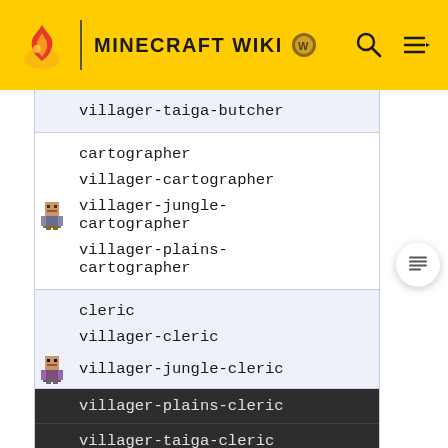MINECRAFT WIKI
| villager-taiga-butcher |
| cartographer | villager-cartographer | villager-jungle-cartographer | villager-plains-cartographer |
| cleric | villager-cleric | villager-jungle-cleric | villager-plains-cleric | villager-taiga-cleric |
| farmer | villager-desert-farmer | villager-farmer |